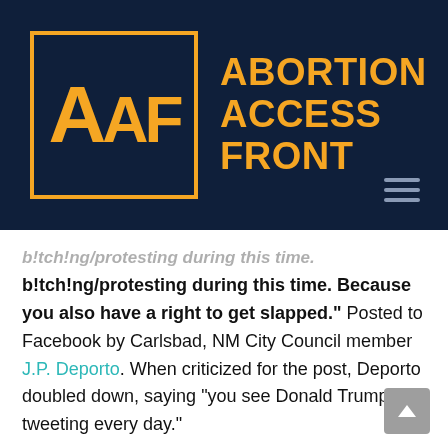[Figure (logo): Abortion Access Front logo: dark navy background with orange box containing 'AAF' letters and text 'ABORTION ACCESS FRONT' in orange bold]
b!tch!ng/protesting during this time. Because you also have a right to get slapped." Posted to Facebook by Carlsbad, NM City Council member J.P. Deporto. When criticized for the post, Deporto doubled down, saying "you see Donald Trump tweeting every day."